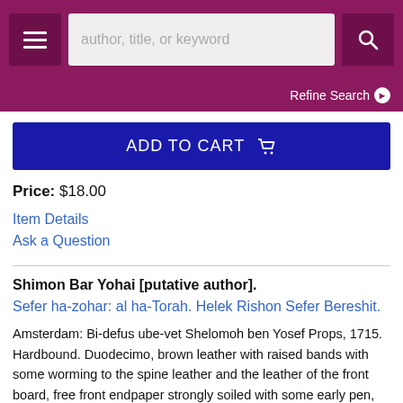[Figure (screenshot): Top navigation bar with hamburger menu icon, search field placeholder 'author, title, or keyword', and search button on a dark magenta/purple background]
Refine Search ❯
ADD TO CART 🛒
Price: $18.00
Item Details
Ask a Question
Shimon Bar Yohai [putative author].
Sefer ha-zohar: al ha-Torah. Helek Rishon Sefer Bereshit.
Amsterdam: Bi-defus ube-vet Shelomoh ben Yosef Props, 1715. Hardbound. Duodecimo, brown leather with raised bands with some worming to the spine leather and the leather of the front board, free front endpaper strongly soiled with some early pen, old rabbinic notes on the following blanks in three different hands, 152..... More ›